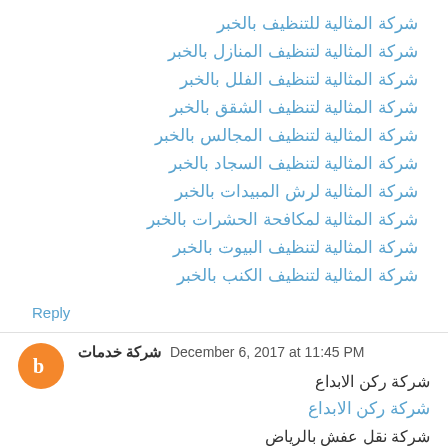شركة المثالية للتنظيف بالخبر
شركة المثالية لتنظيف المنازل بالخبر
شركة المثالية لتنظيف الفلل بالخبر
شركة المثالية لتنظيف الشقق بالخبر
شركة المثالية لتنظيف المجالس بالخبر
شركة المثالية لتنظيف السجاد بالخبر
شركة المثالية لرش المبيدات بالخبر
شركة المثالية لمكافحة الحشرات بالخبر
شركة المثالية لتنظيف البيوت بالخبر
شركة المثالية لتنظيف الكنب بالخبر
Reply
شركة خدمات  December 6, 2017 at 11:45 PM
شركة ركن الابداع
شركة ركن الابداع
شركة نقل عفش بالرياض
شركة نقل عفش بالرياض
شركة نقل اثاث بالرياض
شركة نقل اثاث بالرياض
شركة نقل عفش بالخرج